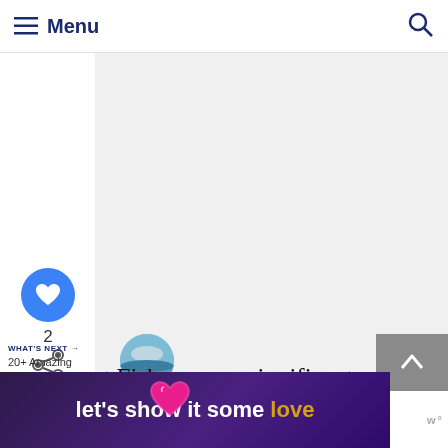≡ Menu
[Figure (screenshot): Gray advertisement placeholder box]
[Figure (infographic): Blue circular like/heart button with count 2 and share icon below]
2
WHAT'S NEXT → 20+ Amazing Beaches in...
[Figure (photo): Circular thumbnail of beach/ocean scene]
rt Fisher was a significant protector of Wilmington, which
[Figure (infographic): Bottom banner advertisement with text: let's show it some love]